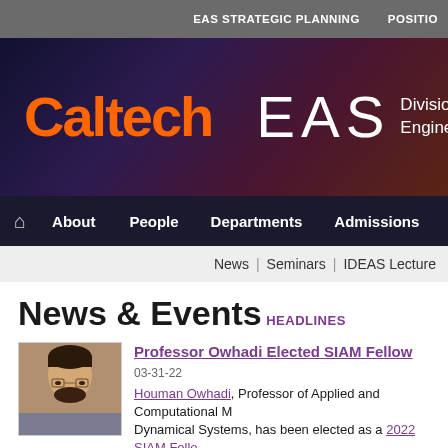EAS STRATEGIC PLANNING | POSITIO
[Figure (logo): Caltech EAS Division of Engineering banner with orange Caltech logo and white EAS text on dark purple/maroon gradient background]
Home | About | People | Departments | Admissions
News | Seminars | IDEAS Lecture
News & Events
HEADLINES
[Figure (photo): Portrait photo of Professor Houman Owhadi]
Professor Owhadi Elected SIAM Fellow
03-31-22
Houman Owhadi, Professor of Applied and Computational M... Dynamical Systems, has been elected as a 2022 SIAM Fello...